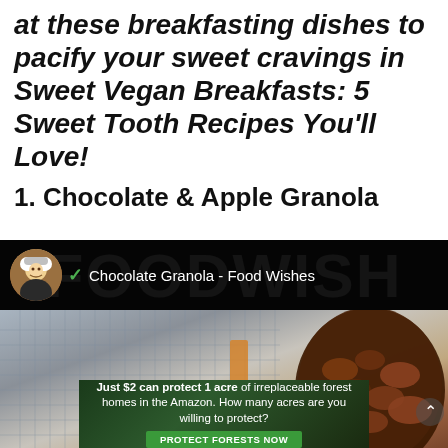at these breakfasting dishes to pacify your sweet cravings in Sweet Vegan Breakfasts: 5 Sweet Tooth Recipes You'll Love!
1. Chocolate & Apple Granola
[Figure (screenshot): Video thumbnail from FOODWISH YouTube channel showing 'Chocolate Granola - Food Wishes' with a chef avatar, channel name overlay, and a close-up photo of chocolate granola in a glass jar on a wire rack.]
[Figure (photo): Advertisement banner: 'Just $2 can protect 1 acre of irreplaceable forest homes in the Amazon. How many acres are you willing to protect?' with a green PROTECT FORESTS NOW button and forest imagery.]